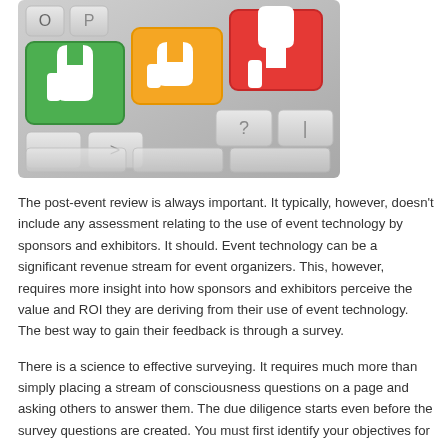[Figure (photo): Photo of a keyboard with three large colored keys: a green key with a thumbs-up icon, an orange key with a sideways thumbs icon, and a red key with a thumbs-down icon. Other standard keyboard keys are visible around them.]
The post-event review is always important. It typically, however, doesn't include any assessment relating to the use of event technology by sponsors and exhibitors. It should. Event technology can be a significant revenue stream for event organizers. This, however, requires more insight into how sponsors and exhibitors perceive the value and ROI they are deriving from their use of event technology. The best way to gain their feedback is through a survey.
There is a science to effective surveying. It requires much more than simply placing a stream of consciousness questions on a page and asking others to answer them. The due diligence starts even before the survey questions are created. You must first identify your objectives for